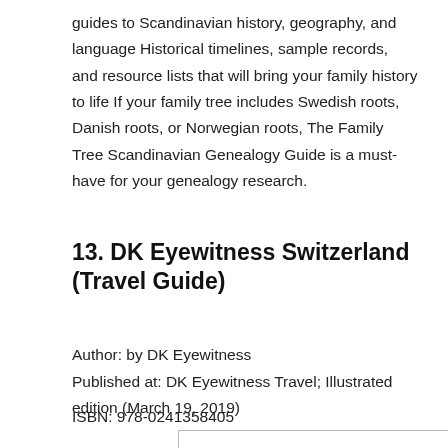guides to Scandinavian history, geography, and language Historical timelines, sample records, and resource lists that will bring your family history to life If your family tree includes Swedish roots, Danish roots, or Norwegian roots, The Family Tree Scandinavian Genealogy Guide is a must-have for your genealogy research.
13. DK Eyewitness Switzerland (Travel Guide)
Author: by DK Eyewitness
Published at: DK Eyewitness Travel; Illustrated edition (March 19, 2019)
ISBN: 978-0241358405
[Figure (logo): DK Eyewitness logo badge with white DK box and white EYEWITNESS text on black background]